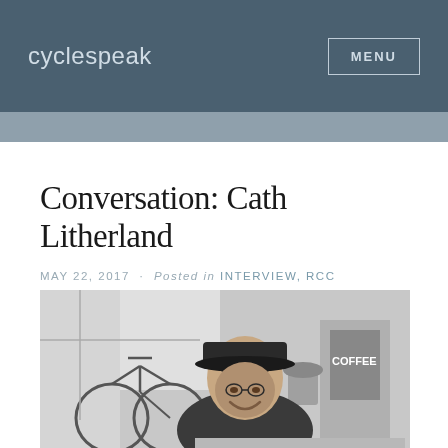cyclespeak   MENU
Conversation: Cath Litherland
MAY 22, 2017 · Posted in INTERVIEW, RCC
[Figure (photo): Black and white photograph of a person wearing a cycling cap and dark top, smiling, seated indoors with a bicycle and a coffee sign visible in the background.]